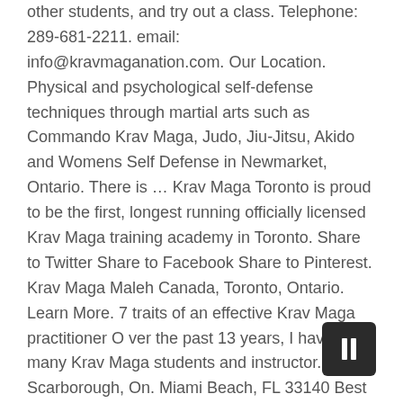other students, and try out a class. Telephone: 289-681-2211. email: info@kravmaganation.com. Our Location. Physical and psychological self-defense techniques through martial arts such as Commando Krav Maga, Judo, Jiu-Jitsu, Akido and Womens Self Defense in Newmarket, Ontario. There is … Krav Maga Toronto is proud to be the first, longest running officially licensed Krav Maga training academy in Toronto. Share to Twitter Share to Facebook Share to Pinterest. Krav Maga Maleh Canada, Toronto, Ontario. Learn More. 7 traits of an effective Krav Maga practitioner O ver the past 13 years, I have seen many Krav Maga students and instructor. 1. Scarborough, On. Miami Beach, FL 33140 Best of 2020 2
[Figure (other): Dark rounded rectangle button with a vertical rectangle/pause icon in white, positioned in lower right area]